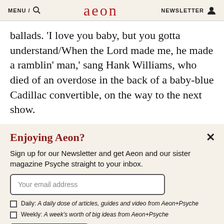MENU / 🔍  aeon  NEWSLETTER 👤
ballads. 'I love you baby, but you gotta understand/When the Lord made me, he made a ramblin' man,' sang Hank Williams, who died of an overdose in the back of a baby-blue Cadillac convertible, on the way to the next show.
Enjoying Aeon?
Sign up for our Newsletter and get Aeon and our sister magazine Psyche straight to your inbox.
Your email address
Daily: A daily dose of articles, guides and video from Aeon+Psyche
Weekly: A week's worth of big ideas from Aeon+Psyche
Sign up now
I'm already subscribed
Privacy policy